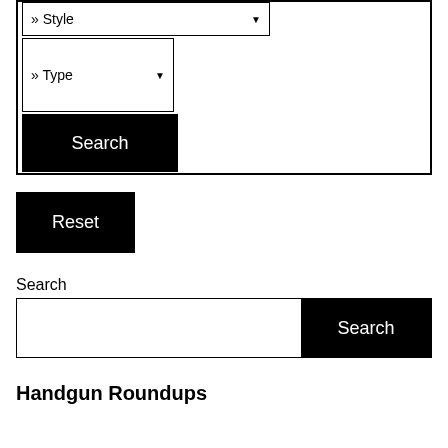[Figure (screenshot): UI section with Style dropdown, Type dropdown, and Search button inside a bordered box]
[Figure (screenshot): Reset button (black background, white text)]
Search
[Figure (screenshot): Search input field with Search button (black background, white text)]
Handgun Roundups